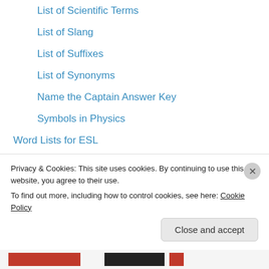List of Scientific Terms
List of Slang
List of Suffixes
List of Synonyms
Name the Captain Answer Key
Symbols in Physics
Word Lists for ESL
Airline Travel
City Buildings
Transportation
Weather
Workbooks
3081554 Energy for Life Workbook
Privacy & Cookies: This site uses cookies. By continuing to use this website, you agree to their use.
To find out more, including how to control cookies, see here: Cookie Policy
Close and accept